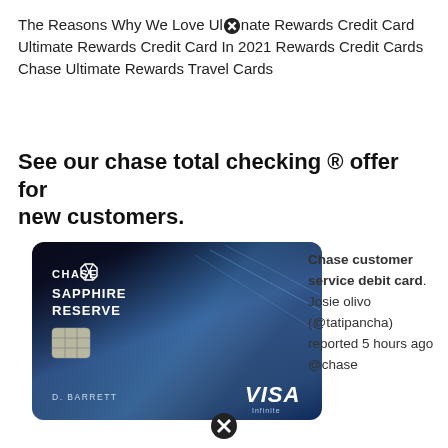The Reasons Why We Love Ul⭗nate Rewards Credit Card Ultimate Rewards Credit Card In 2021 Rewards Credit Cards Chase Ultimate Rewards Travel Cards
See our chase total checking ® offer for new customers.
[Figure (photo): Chase Sapphire Reserve credit card - dark blue/black card with CHASE logo, SAPPHIRE RESERVE text, chip, D. BARRETT cardholder name, and VISA Infinite logo]
Chase customer service debit card. Josie olivo (@tatipancha) reported 5 hours ago @chase